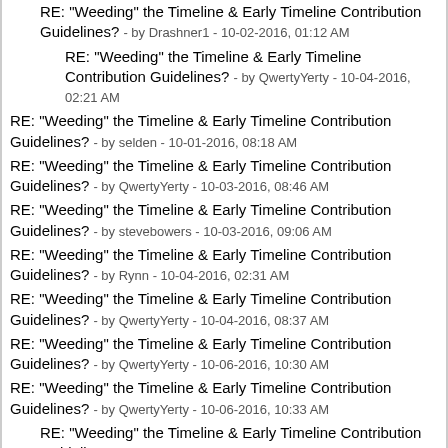RE: "Weeding" the Timeline & Early Timeline Contribution Guidelines? - by Drashner1 - 10-02-2016, 01:12 AM
RE: "Weeding" the Timeline & Early Timeline Contribution Guidelines? - by QwertyYerty - 10-04-2016, 02:21 AM
RE: "Weeding" the Timeline & Early Timeline Contribution Guidelines? - by selden - 10-01-2016, 08:18 AM
RE: "Weeding" the Timeline & Early Timeline Contribution Guidelines? - by QwertyYerty - 10-03-2016, 08:46 AM
RE: "Weeding" the Timeline & Early Timeline Contribution Guidelines? - by stevebowers - 10-03-2016, 09:06 AM
RE: "Weeding" the Timeline & Early Timeline Contribution Guidelines? - by Rynn - 10-04-2016, 02:31 AM
RE: "Weeding" the Timeline & Early Timeline Contribution Guidelines? - by QwertyYerty - 10-04-2016, 08:37 AM
RE: "Weeding" the Timeline & Early Timeline Contribution Guidelines? - by QwertyYerty - 10-06-2016, 10:30 AM
RE: "Weeding" the Timeline & Early Timeline Contribution Guidelines? - by QwertyYerty - 10-06-2016, 10:33 AM
RE: "Weeding" the Timeline & Early Timeline Contribution Guidelines? - by Rynn - 10-07-2016, 12:48 AM
RE: "Weeding" the Timeline & Early Timeline Contribution Guidelines? - by Drashner1 - 10-07-2016, 12:16 PM
RE: "Weeding" the Timeline & Early Timeline Contribution Guidelines? - by QwertyYerty - 10-15-2016,